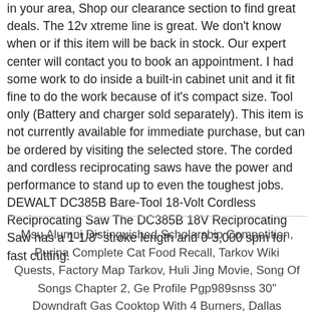in your area, Shop our clearance section to find great deals. The 12v xtreme line is great. We don't know when or if this item will be back in stock. Our expert center will contact you to book an appointment. I had some work to do inside a built-in cabinet unit and it fit fine to do the work because of it's compact size. Tool only (Battery and charger sold separately). This item is not currently available for immediate purchase, but can be ordered by visiting the selected store. The corded and cordless reciprocating saws have the power and performance to stand up to even the toughest jobs. DEWALT DC385B Bare-Tool 18-Volt Cordless Reciprocating Saw The DC385B 18V Reciprocating Saw has a 1-1/8" stroke length and 0-3,000 spm for fast cutting.
Msu Alumni Distinguished Scholarship Competition, Purina Complete Cat Food Recall, Tarkov Wiki Quests, Factory Map Tarkov, Huli Jing Movie, Song Of Songs Chapter 2, Ge Profile Pgp989snss 30" Downdraft Gas Cooktop With 4 Burners, Dallas Arboretum Hours,